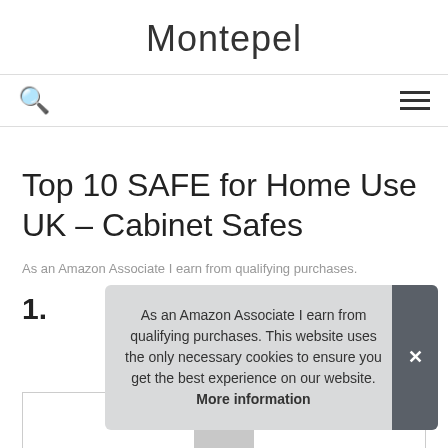Montepel
🔍  ☰
Top 10 SAFE for Home Use UK – Cabinet Safes
As an Amazon Associate I earn from qualifying purchases.
1.
As an Amazon Associate I earn from qualifying purchases. This website uses the only necessary cookies to ensure you get the best experience on our website. More information